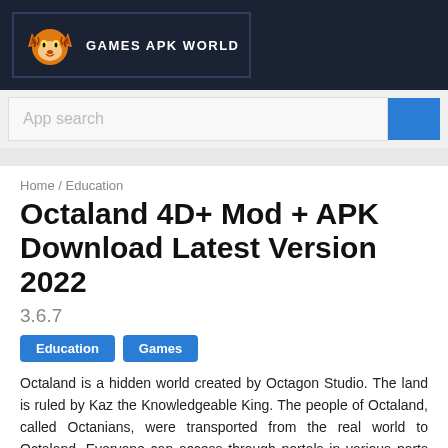GAMES APK WORLD
App search
Home / Education
Octaland 4D+ Mod + APK Download Latest Version 2022
3.6.7
Education  Games
Octaland is a hidden world created by Octagon Studio. The land is ruled by Kaz the Knowledgeable King. The people of Octaland, called Octanians, were transported from the real world to Octaland. Everyone can access through portals in various parts of the world. This virtual